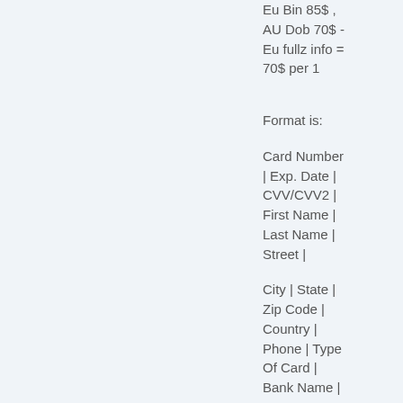Eu Bin 85$ , AU Dob 70$ - Eu fullz info = 70$ per 1
Format is:
Card Number | Exp. Date | CVV/CVV2 | First Name | Last Name | Street |
City | State | Zip Code | Country | Phone | Type Of Card | Bank Name |
~~~~~ NOTE : DON'T ASK